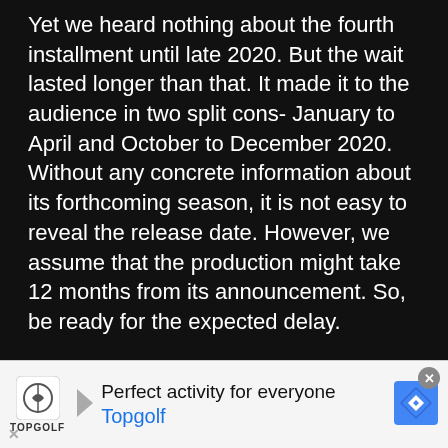Yet we heard nothing about the fourth installment until late 2020. But the wait lasted longer than that. It made it to the audience in two split cons- January to April and October to December 2020. Without any concrete information about its forthcoming season, it is not easy to reveal the release date. However, we assume that the production might take 12 months from its announcement. So, be ready for the expected delay.
So if we have to predict an air date, it would be probably in mid-2023.
Who will be the cast of Haikyuu Season 5?
Be ready to see your favorite characters returning for the fifth season. Haikyuu has strong core cast returning. Remaining
[Figure (screenshot): Advertisement banner for Topgolf: 'Perfect activity for everyone' with Topgolf logo and navigation icon, close button in top right corner, X icon in bottom left corner.]